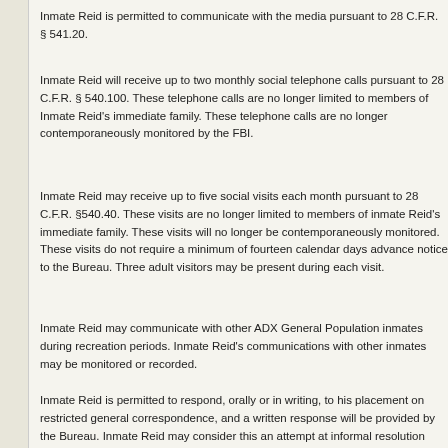Inmate Reid is permitted to communicate with the media pursuant to 28 C.F.R. § 541.20.
Inmate Reid will receive up to two monthly social telephone calls pursuant to 28 C.F.R. § 540.100. These telephone calls are no longer limited to members of Inmate Reid's immediate family. These telephone calls are no longer contemporaneously monitored by the FBI.
Inmate Reid may receive up to five social visits each month pursuant to 28 C.F.R. §540.40. These visits are no longer limited to members of inmate Reid's immediate family. These visits will no longer be contemporaneously monitored. These visits do not require a minimum of fourteen calendar days advance notice to the Bureau. Three adult visitors may be present during each visit.
Inmate Reid may communicate with other ADX General Population inmates during recreation periods. Inmate Reid's communications with other inmates may be monitored or recorded.
Inmate Reid is permitted to respond, orally or in writing, to his placement on restricted general correspondence, and a written response will be provided by the Bureau. Inmate Reid may consider this an attempt at informal resolution under the Bureau's Administrative Remedy Program. In addition, he may formally appeal the decision to place him on Restricted General Correspondence status through the Bureau's Administrative Remedy Program.
Inmate Reid's placement on Restricted General Correspondence